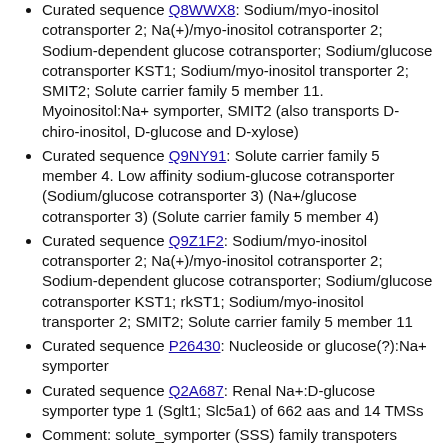Curated sequence Q8WWX8: Sodium/myo-inositol cotransporter 2; Na(+)/myo-inositol cotransporter 2; Sodium-dependent glucose cotransporter; Sodium/glucose cotransporter KST1; Sodium/myo-inositol transporter 2; SMIT2; Solute carrier family 5 member 11. Myoinositol:Na+ symporter, SMIT2 (also transports D-chiro-inositol, D-glucose and D-xylose)
Curated sequence Q9NY91: Solute carrier family 5 member 4. Low affinity sodium-glucose cotransporter (Sodium/glucose cotransporter 3) (Na+/glucose cotransporter 3) (Solute carrier family 5 member 4)
Curated sequence Q9Z1F2: Sodium/myo-inositol cotransporter 2; Na(+)/myo-inositol cotransporter 2; Sodium-dependent glucose cotransporter; Sodium/glucose cotransporter KST1; rkST1; Sodium/myo-inositol transporter 2; SMIT2; Solute carrier family 5 member 11
Curated sequence P26430: Nucleoside or glucose(?):Na+ symporter
Curated sequence Q2A687: Renal Na+:D-glucose symporter type 1 (Sglt1; Slc5a1) of 662 aas and 14 TMSs
Comment: solute_symporter (SSS) family transpoters
Or cluster all characterized SSS-glucose proteins
This GapMind analysis is from Sep 17 2021. The underlying query